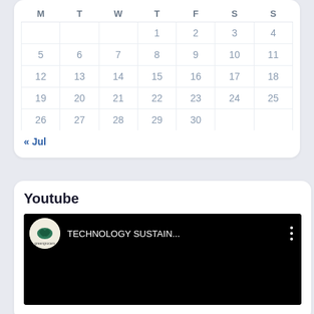| M | T | W | T | F | S | S |
| --- | --- | --- | --- | --- | --- | --- |
|  |  |  | 1 | 2 | 3 | 4 |
| 5 | 6 | 7 | 8 | 9 | 10 | 11 |
| 12 | 13 | 14 | 15 | 16 | 17 | 18 |
| 19 | 20 | 21 | 22 | 23 | 24 | 25 |
| 26 | 27 | 28 | 29 | 30 |  |  |
« Jul
Youtube
[Figure (screenshot): YouTube video player showing a video titled 'TECHNOLOGY SUSTAIN...' from the greengrocers channel, displayed on a black background with a channel logo circle and three-dot menu icon.]